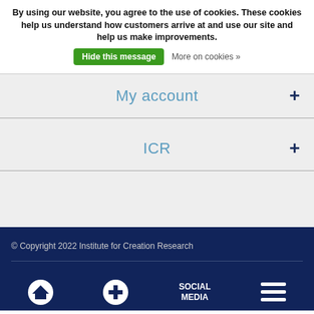By using our website, you agree to the use of cookies. These cookies help us understand how customers arrive at and use our site and help us make improvements.
Hide this message
More on cookies »
My account
ICR
© Copyright 2022 Institute for Creation Research
SOCIAL MEDIA